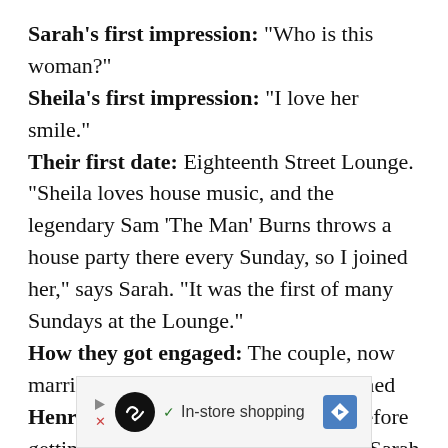Sarah's first impression: "Who is this woman?" Sheila's first impression: "I love her smile." Their first date: Eighteenth Street Lounge. "Sheila loves house music, and the legendary Sam 'The Man' Burns throws a house party there every Sunday, so I joined her," says Sarah. "It was the first of many Sundays at the Lounge." How they got engaged: The couple, now married with a 14-month-old baby named Henri, were together for eight years before getting engaged. On a trip to Chicago, Sarah proposed in front of St. James Chapel as the
[Figure (other): Advertisement banner with a play icon, close button, circular logo with infinity-like symbol, checkmark, 'In-store shopping' text, and a blue diamond navigation icon]